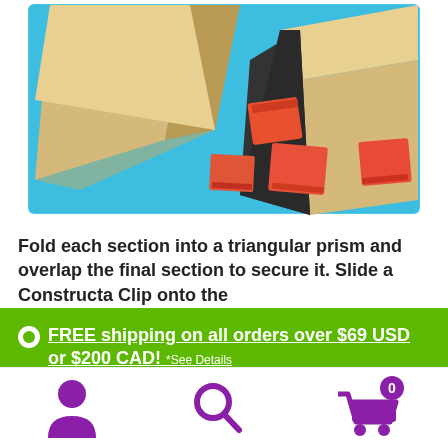[Figure (photo): Product photo showing cardboard triangular prism packaging pieces being assembled, with small orange/red electronic component squares scattered on a blue background]
Fold each section into a triangular prism and overlap the final section to secure it. Slide a Constructa Clip onto the
FREE shipping on all orders over $69 USD or $200 CAD! *See Details
Dismiss